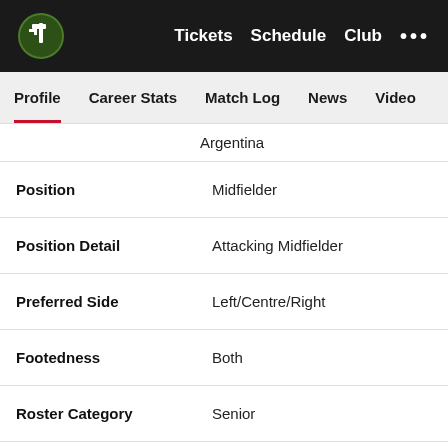Portland Timbers navigation: Tickets | Schedule | Club | ...
Profile | Career Stats | Match Log | News | Video
| Field | Value |
| --- | --- |
|  | Argentina |
| Position | Midfielder |
| Position Detail | Attacking Midfielder |
| Preferred Side | Left/Centre/Right |
| Footedness | Both |
| Roster Category | Senior |
| Player Category | Designated Player |